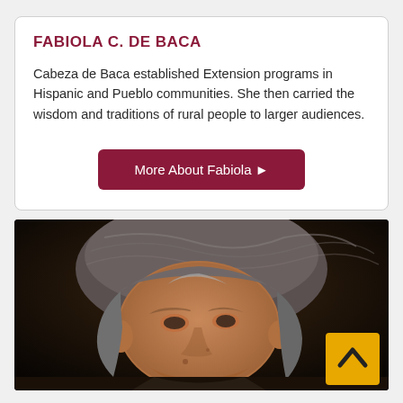FABIOLA C. DE BACA
Cabeza de Baca established Extension programs in Hispanic and Pueblo communities. She then carried the wisdom and traditions of rural people to larger audiences.
More About Fabiola ▶
[Figure (photo): Close-up portrait photo of an elderly person with gray hair against a dark background, with a yellow back-to-top button overlay in the bottom right corner.]